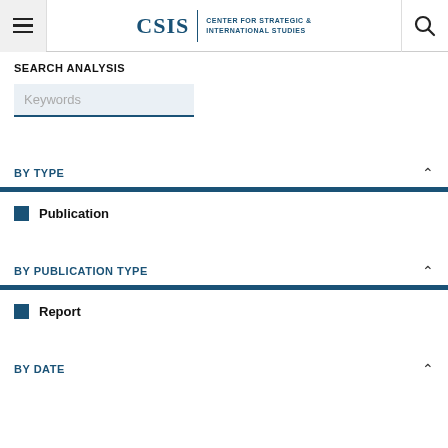CSIS | CENTER FOR STRATEGIC & INTERNATIONAL STUDIES
SEARCH ANALYSIS
Keywords
BY TYPE
Publication
BY PUBLICATION TYPE
Report
BY DATE